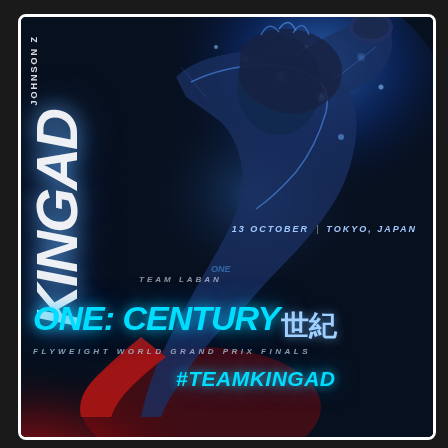[Figure (photo): Promotional event poster for ONE: Century martial arts event. Features a fighter (Kingad) in action with blue energy/light effects, red splashes at bottom, and event details overlaid on dark background.]
JOHNSON Z KINGAD
13 OCTOBER | TOKYO, JAPAN
TEAM LABAN
ONE: CENTURY 世紀
FLYWEIGHT WORLD GRAND PRIX FINALS
#TEAMKINGAD